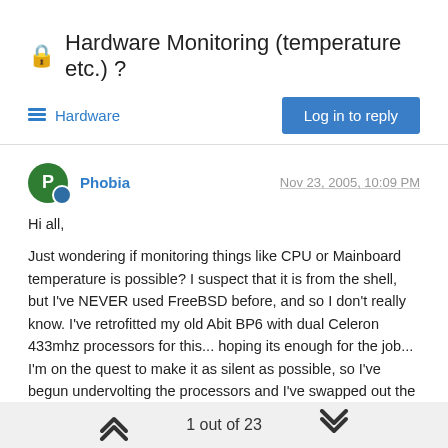Hardware Monitoring (temperature etc.) ?
Hardware
Phobia  Nov 23, 2005, 10:09 PM
Hi all,

Just wondering if monitoring things like CPU or Mainboard temperature is possible?  I suspect that it is from the shell, but I've NEVER used FreeBSD before, and so I don't really know.  I've retrofitted my old Abit BP6 with dual Celeron 433mhz processors for this... hoping its enough for the job... I'm on the quest to make it as silent as possible, so I've begun undervolting the processors and I've swapped out the old fans for a single low RPM 80mm fan... temps in the bios look good, and as I'm only testing pfSense
1 out of 23